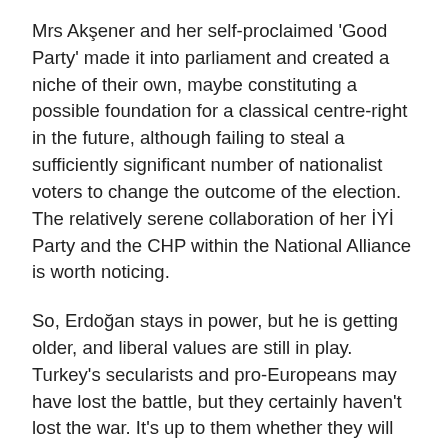Mrs Akşener and her self-proclaimed 'Good Party' made it into parliament and created a niche of their own, maybe constituting a possible foundation for a classical centre-right in the future, although failing to steal a sufficiently significant number of nationalist voters to change the outcome of the election. The relatively serene collaboration of her İYİ Party and the CHP within the National Alliance is worth noticing.
So, Erdoğan stays in power, but he is getting older, and liberal values are still in play. Turkey's secularists and pro-Europeans may have lost the battle, but they certainly haven't lost the war. It's up to them whether they will be able to transfer their gained political capital into a defeat for the AK Parti and the neo-Ottoman, pseudo-imperialistic side of Turkishness. The Sultan's palace hasn't fallen yet, but has certainly been weakened.